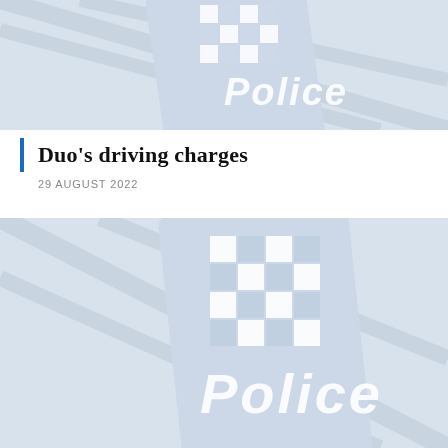[Figure (photo): Close-up photo of an Australian police sign showing a checkered hat badge and the word 'Police' in white text on a light blue/grey background — cropped top portion]
Duo's driving charges
29 AUGUST 2022
[Figure (photo): Close-up photo of an Australian police sign showing a checkered hat badge and the word 'Police' in white text on a light blue/grey background — full view]